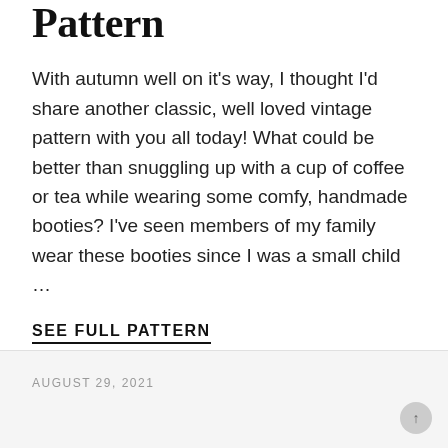Pattern
With autumn well on it's way, I thought I'd share another classic, well loved vintage pattern with you all today! What could be better than snuggling up with a cup of coffee or tea while wearing some comfy, handmade booties? I've seen members of my family wear these booties since I was a small child …
SEE FULL PATTERN
AUGUST 29, 2021